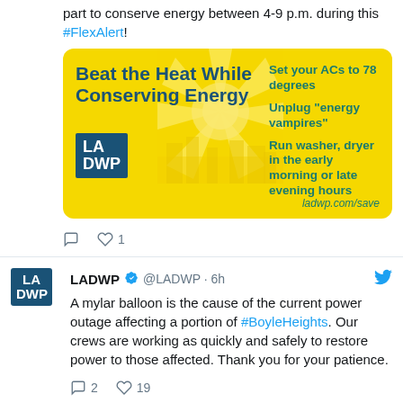part to conserve energy between 4-9 p.m. during this #FlexAlert!
[Figure (infographic): LA DWP yellow card: Beat the Heat While Conserving Energy. Tips: Set your ACs to 78 degrees, Unplug energy vampires, Run washer dryer in the early morning or late evening hours. ladwp.com/save]
Comment 0  Like 1
LADWP @LADWP · 6h
A mylar balloon is the cause of the current power outage affecting a portion of #BoyleHeights. Our crews are working as quickly and safely to restore power to those affected. Thank you for your patience.
Comment 2  Like 19